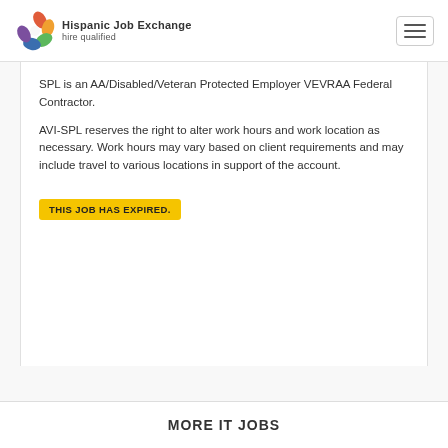Hispanic Job Exchange - hire qualified
SPL is an AA/Disabled/Veteran Protected Employer VEVRAA Federal Contractor.
AVI-SPL reserves the right to alter work hours and work location as necessary. Work hours may vary based on client requirements and may include travel to various locations in support of the account.
THIS JOB HAS EXPIRED.
MORE IT JOBS